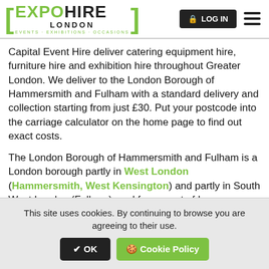[Figure (logo): Expo Hire London logo with green brackets, green EXPO text, black HIRE text, LONDON subtitle, and tagline EVENTS · EXHIBITIONS · OCCASIONS]
Capital Event Hire deliver catering equipment hire, furniture hire and exhibition hire throughout Greater London. We deliver to the London Borough of Hammersmith and Fulham with a standard delivery and collection starting from just £30. Put your postcode into the carriage calculator on the home page to find out exact costs.
The London Borough of Hammersmith and Fulham is a London borough partly in West London (Hammersmith, West Kensington) and partly in South West London (Fulham), and forms part of Inner London.
This site uses cookies. By continuing to browse you are agreeing to their use. ✔ OK 🍪 Cookie Policy